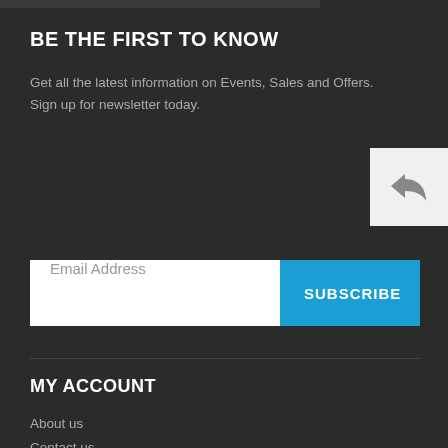BE THE FIRST TO KNOW
Get all the latest information on Events, Sales and Offers. Sign up for newsletter today.
[Figure (other): Reply/back arrow icon button on light grey background]
Email Address | SUBSCRIBE
MY ACCOUNT
About us
Contact us
My Account
Order history
Advanced search